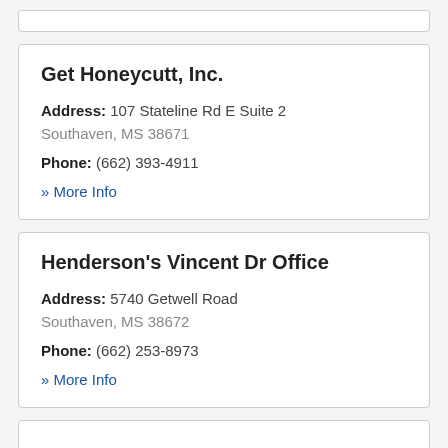Get Honeycutt, Inc.
Address: 107 Stateline Rd E Suite 2 Southaven, MS 38671
Phone: (662) 393-4911
» More Info
Henderson's Vincent Dr Office
Address: 5740 Getwell Road Southaven, MS 38672
Phone: (662) 253-8973
» More Info